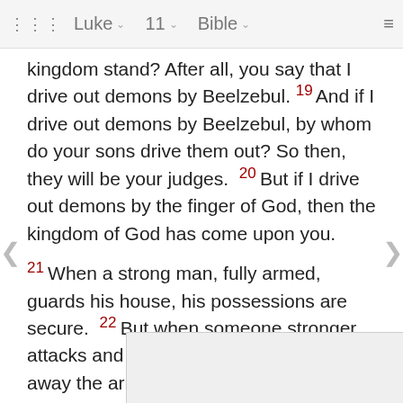⠿ Luke ∨   11 ∨   Bible ∨   ≡
kingdom stand? After all, you say that I drive out demons by Beelzebul. 19 And if I drive out demons by Beelzebul, by whom do your sons drive them out? So then, they will be your judges. 20 But if I drive out demons by the finger of God, then the kingdom of God has come upon you.
21 When a strong man, fully armed, guards his house, his possessions are secure. 22 But when someone stronger attacks and overpowers him, he takes away the armor in which the man trusted, and then he divides up his plunder.
23 He who is not with Me is against Me, and he who does not gather with Me scatters.
An U
(Matti